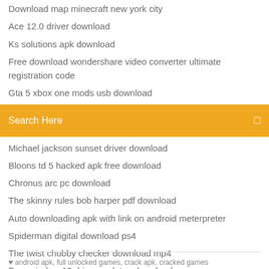Download map minecraft new york city
Ace 12.0 driver download
Ks solutions apk download
Free download wondershare video converter ultimate registration code
Gta 5 xbox one mods usb download
[Figure (screenshot): Orange search bar with text 'Search Here' and a search icon on the right]
Michael jackson sunset driver download
Bloons td 5 hacked apk free download
Chronus arc pc download
The skinny rules bob harper pdf download
Auto downloading apk with link on android meterpreter
Spiderman digital download ps4
The twist chubby checker download mp4
Free window 10 driver updates download
android apk, full unlocked games, crack apk, cracked games